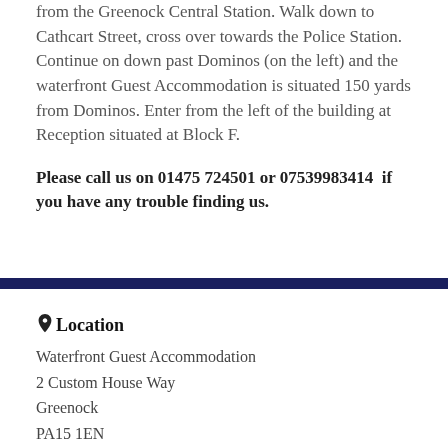from the Greenock Central Station. Walk down to Cathcart Street, cross over towards the Police Station. Continue on down past Dominos (on the left) and the waterfront Guest Accommodation is situated 150 yards from Dominos. Enter from the left of the building at Reception situated at Block F.
Please call us on 01475 724501 or 07539983414  if you have any trouble finding us.
Location
Waterfront Guest Accommodation
2 Custom House Way
Greenock
PA15 1EN